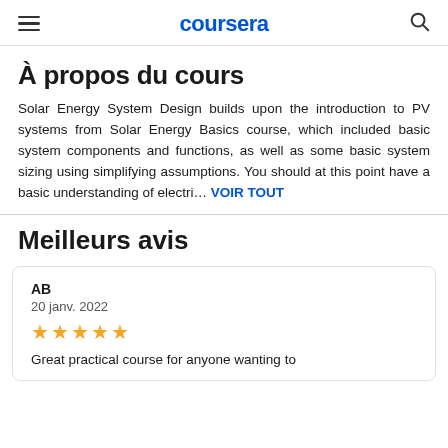coursera
À propos du cours
Solar Energy System Design builds upon the introduction to PV systems from Solar Energy Basics course, which included basic system components and functions, as well as some basic system sizing using simplifying assumptions. You should at this point have a basic understanding of electri… VOIR TOUT
Meilleurs avis
AB
20 janv. 2022
★★★★★
Great practical course for anyone wanting to